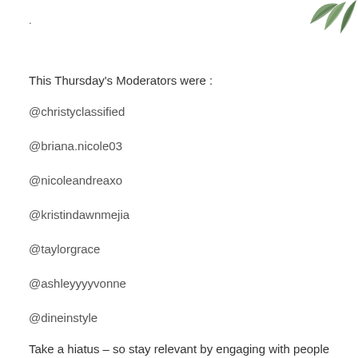[Figure (illustration): Green leaf decoration in upper right corner]
.
This Thursday's Moderators were :
@christyclassified
@briana.nicole03
@nicoleandreaxo
@kristindawnmejia
@taylorgrace
@ashleyyvonne
@dineinstyle
Take a hiatus – so stay relevant by engaging with people you really enjoy, come back when you're ready.